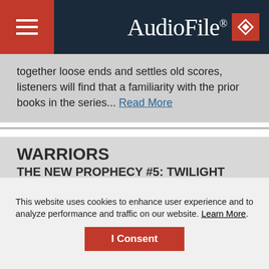AudioFile
together loose ends and settles old scores, listeners will find that a familiarity with the prior books in the series... Read More
WARRIORS
THE NEW PROPHECY #5: TWILIGHT
by Erin Hunter | Read by Nanette Savard
Harper Audio | Unabridged
Children
This fifth book in Hunter's Warrior Series brings more unrest to the feline warrior clans, who face
This website uses cookies to enhance user experience and to analyze performance and traffic on our website. Learn More.
I Consent